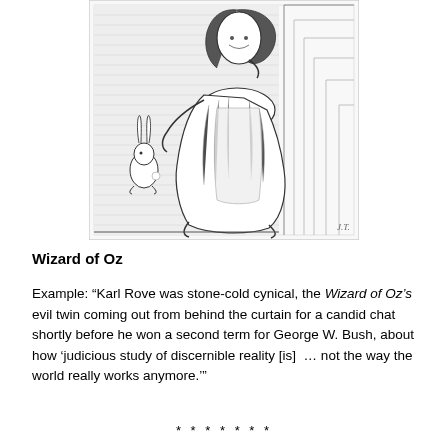[Figure (illustration): Black and white pen-and-ink illustration of Alice from Alice in Wonderland kneeling on stairs, with the White Rabbit visible to her left. Classic Tenniel-style engraving.]
Wizard of Oz
Example: “Karl Rove was stone-cold cynical, the Wizard of Oz’s evil twin coming out from behind the curtain for a candid chat shortly before he won a second term for George W. Bush, about how ‘judicious study of discernible reality [is] … not the way the world really works anymore.’”
* * * * * * *